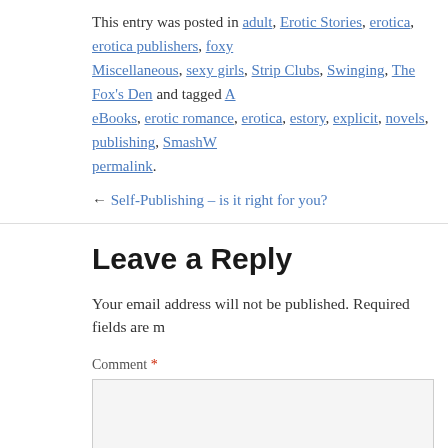This entry was posted in adult, Erotic Stories, erotica, erotica publishers, foxy, Miscellaneous, sexy girls, Strip Clubs, Swinging, The Fox's Den and tagged A, eBooks, erotic romance, erotica, estory, explicit, novels, publishing, SmashW, permalink.
← Self-Publishing – is it right for you?
Leave a Reply
Your email address will not be published. Required fields are m
Comment *